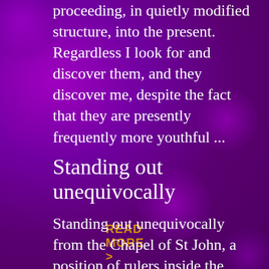proceeding, in quietly modified structure, into the present. Regardless I look for and discover them, and they discover me, despite the fact that they are presently frequently more youthful ...
READ MORE >
Standing out unequivocally
Standing out unequivocally from the Chapel of St John, a position of rulers inside the Tower of London, St Mary Magdalene is a straightforward ward church. It is